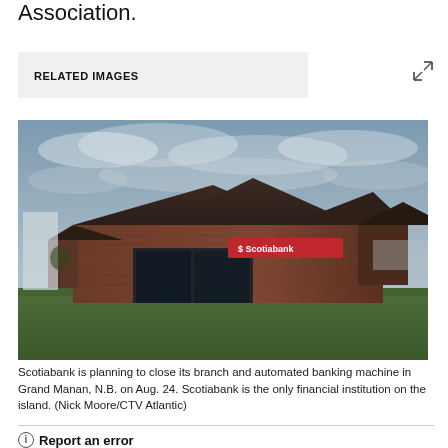Association.
RELATED IMAGES
[Figure (photo): Exterior photograph of a Scotiabank branch building in Grand Manan, N.B. The building is a low brick structure with a distinctive angular dark roof, a red Scotiabank sign, green grass in the foreground, and a cloudy sky.]
Scotiabank is planning to close its branch and automated banking machine in Grand Manan, N.B. on Aug. 24. Scotiabank is the only financial institution on the island. (Nick Moore/CTV Atlantic)
Report an error